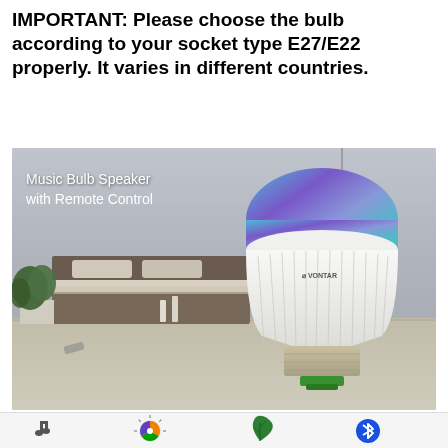IMPORTANT: Please choose the bulb according to your socket type E27/E22 properly. It varies in different countries.
[Figure (photo): Product photo of a VONTAR Music Bulb Speaker with Remote Control in a bedroom setting. The bulb has a colorful RGB dome top (blue/purple gradient) and white ribbed body with a screw base. The bedroom background shows a bed, plant, and nightstand. Text overlay reads 'Music Bulb Speaker with Remote Control'.]
[Figure (infographic): Bottom strip showing four product feature icons: music note icon, RGB light/color wheel icon, leaf/eco icon, and Bluetooth icon.]